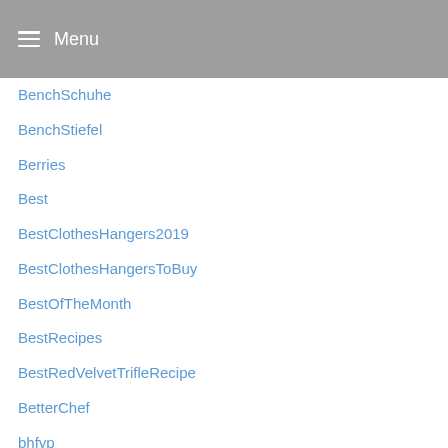Menu
BenchSchuhe
BenchStiefel
Berries
Best
BestClothesHangers2019
BestClothesHangersToBuy
BestOfTheMonth
BestRecipes
BestRedVelvetTrifleRecipe
BetterChef
bhfyp
BibUniMainz
BigBlueBinder
BigGreenEgg
BlackFridayDeals
BlackIronTowelRing
BlackPaint